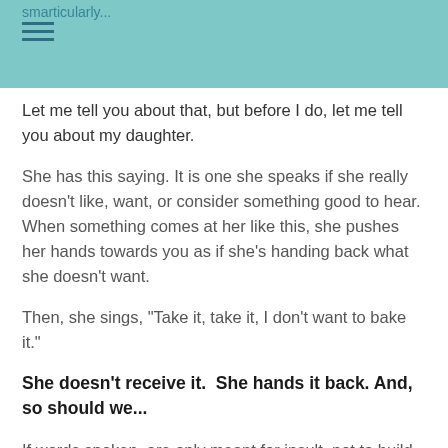smarticularly...
Let me tell you about that, but before I do, let me tell you about my daughter.
She has this saying. It is one she speaks if she really doesn't like, want, or consider something good to hear. When something comes at her like this, she pushes her hands towards you as if she's handing back what she doesn't want.
Then, she sings, "Take it, take it, I don't want to bake it."
She doesn't receive it.  She hands it back. And, so should we...
If words spoken, are only meant for insult, not to build, grow or transform…if they are only meant to hurt…we should do what my daughter does… push with our hands and mind and